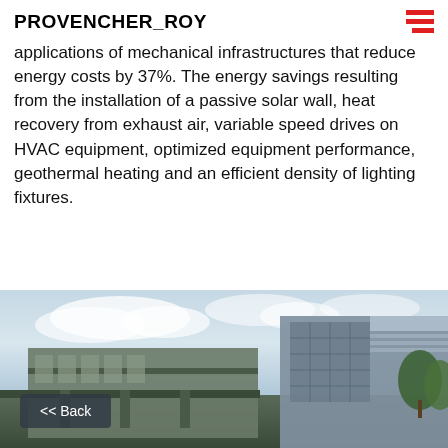PROVENCHER_ROY
applications of mechanical infrastructures that reduce energy costs by 37%. The energy savings resulting from the installation of a passive solar wall, heat recovery from exhaust air, variable speed drives on HVAC equipment, optimized equipment performance, geothermal heating and an efficient density of lighting fixtures.
[Figure (photo): Exterior photo of a modern building with glass and metal facade, blue sky with clouds, trees visible on the right side. A dark back-navigation button labeled '<< Back' is overlaid in the lower-left corner.]